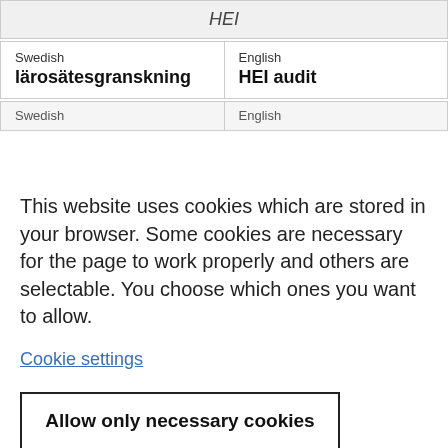| HEI |
| --- |
| Swedish | English |
| --- | --- |
| lärosätesgranskning | HEI audit |
| Swedish | English |
| --- | --- |
This website uses cookies which are stored in your browser. Some cookies are necessary for the page to work properly and others are selectable. You choose which ones you want to allow.
Cookie settings
Allow only necessary cookies
Allow all cookies